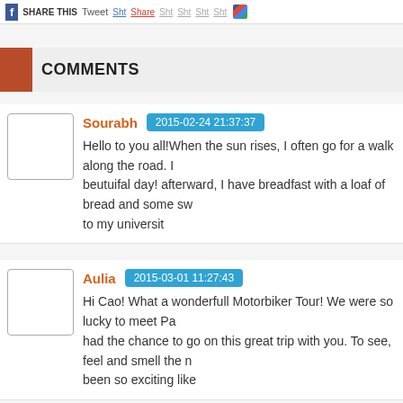SHARE THIS  Tweet Share Sht Sht Sht Sht
COMMENTS
Sourabh  2015-02-24 21:37:37
Hello to you all!When the sun rises, I often go for a walk along the road. I beutuifal day! afterward, I have breadfast with a loaf of bread and some sw to my universit
Aulia  2015-03-01 11:27:43
Hi Cao! What a wonderfull Motorbiker Tour! We were so lucky to meet Pa had the chance to go on this great trip with you. To see, feel and smell the n been so exciting like
Gabriela  2015-03-03 17:56:59
Here's what I like best about the paleo diet It emulates what our busting-at